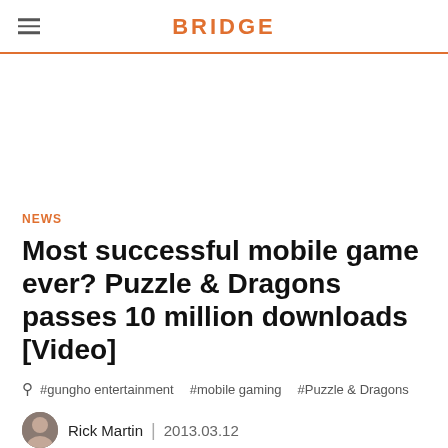BRIDGE
[Figure (other): Advertisement/blank space area]
NEWS
Most successful mobile game ever? Puzzle & Dragons passes 10 million downloads [Video]
#gungho entertainment  #mobile gaming  #Puzzle & Dragons
Rick Martin  |  2013.03.12